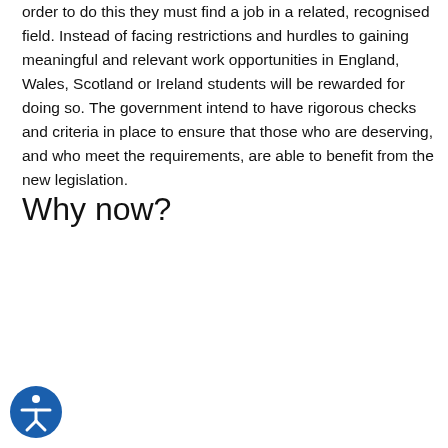order to do this they must find a job in a related, recognised field. Instead of facing restrictions and hurdles to gaining meaningful and relevant work opportunities in England, Wales, Scotland or Ireland students will be rewarded for doing so. The government intend to have rigorous checks and criteria in place to ensure that those who are deserving, and who meet the requirements, are able to benefit from the new legislation.
Why now?
[Figure (illustration): Accessibility button icon — circular blue button with a white person/accessibility symbol in the center]